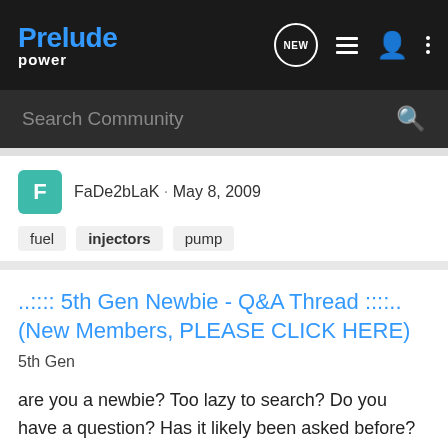Prelude Power
Search Community
FaDe2bLaK · May 8, 2009
fuel  injectors  pump
..:::: 5th Gen Newbie - Q&A Thread ::::.. (New Members, PLEASE CLICK HERE)
5th Gen
are you a newbie? Too lazy to search? Do you have a question? Has it likely been asked before? well you are in luck. This thread is just for YOU. Here you can post your basic questions that have been asked and answered more times than i can count and not get flamed :omg:!!!!! Please DO NOT...
5K  531K